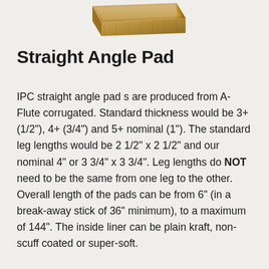[Figure (photo): Photograph of a brown corrugated cardboard straight angle pad, shown at an angle from above, tan/kraft colored.]
Straight Angle Pad
IPC straight angle pad s are produced from A-Flute corrugated. Standard thickness would be 3+ (1/2"), 4+ (3/4") and 5+ nominal (1"). The standard leg lengths would be 2 1/2" x 2 1/2" and our nominal 4" or 3 3/4" x 3 3/4". Leg lengths do NOT need to be the same from one leg to the other. Overall length of the pads can be from 6" (in a break-away stick of 36" minimum), to a maximum of 144". The inside liner can be plain kraft, non-scuff coated or super-soft.